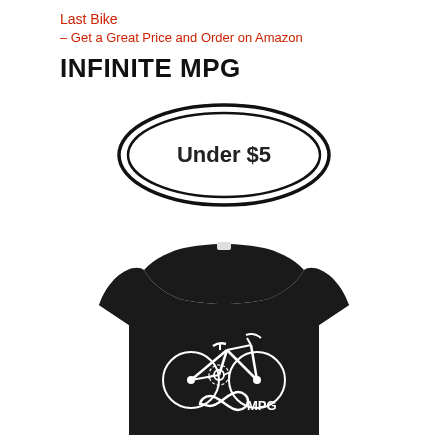Last Bike
– Get a Great Price and Order on Amazon
INFINITE MPG
[Figure (illustration): Double-outlined oval badge with bold text 'Under $5' inside]
[Figure (photo): Black t-shirt with white bicycle graphic and infinity symbol with 'MPG' text printed on it]